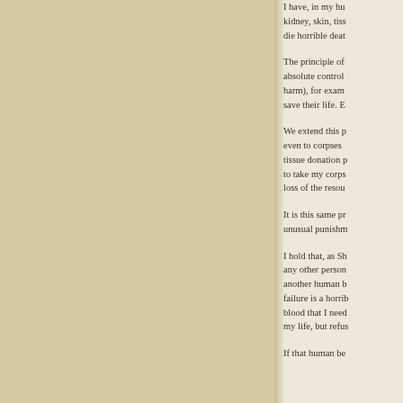I have, in my hu kidney, skin, tiss die horrible deat
The principle of absolute control harm), for exam save their life. E
We extend this p even to corpses tissue donation to take my corps loss of the resou
It is this same p unusual punishm
I hold that, as Sh any other person another human b failure is a horrib blood that I need my life, but refus
If that human be